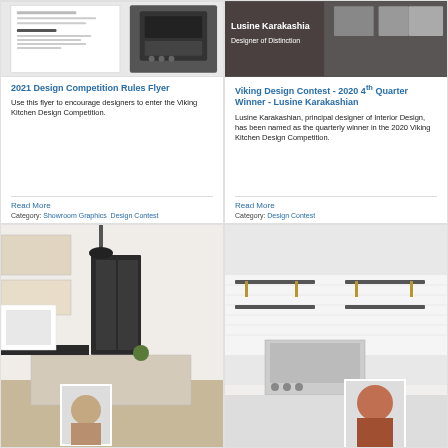[Figure (photo): Design competition rules flyer document preview with microwave/oven appliance]
2021 Design Competition Rules Flyer
Use this flyer to encourage designers to enter the Viking Kitchen Design Competition.
Read More
Category: Showroom Graphics  Design Contest
[Figure (photo): Lusine Karakashia Designer of Distinction - kitchen design photo]
Viking Design Contest - 2020 4th Quarter Winner - Lusine Karakashian
Lusine Karakashian, principal designer of Interior Design, has been named as the quarterly winner in the 2020 Viking Kitchen Design Competition.
Read More
Category: Design Contest
[Figure (photo): Bright white kitchen with black range, island, pendant lights and designer headshot overlay]
[Figure (photo): Modern kitchen with white subway tile, open shelving, stainless range and woman smiling overlay]